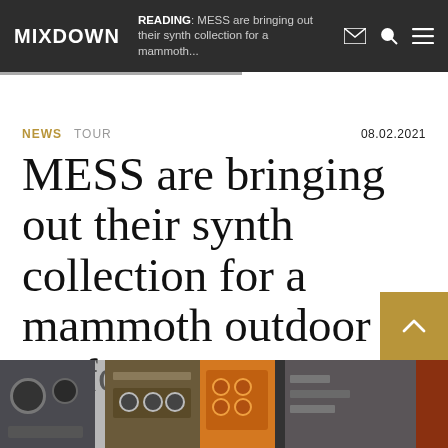MIXDOWN | READING: MESS are bringing out their synth collection for a mammoth...
NEWS  TOUR  08.02.2021
MESS are bringing out their synth collection for a mammoth outdoor performance
[Figure (photo): Photo strip of synthesizers and music equipment on a table/rack]